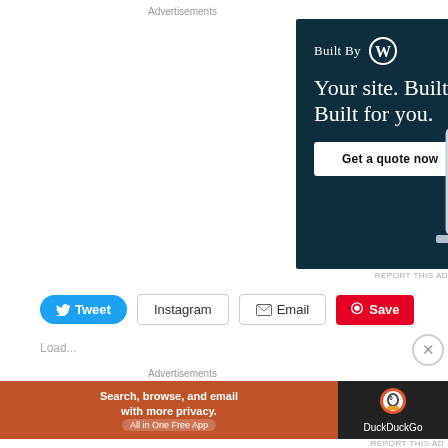Advertisements
[Figure (screenshot): WordPress.com advertisement banner: dark navy background with 'Built By WordPress logo', headline 'Your site. Built by us. Built for you.', CTA button 'Get a quote now', and laptop mockup with website screenshots]
REPORT THIS AD
Tweet  Instagram  Email  Save
Advertisements
[Figure (screenshot): DuckDuckGo advertisement: orange section with 'Search, browse, and email with more privacy. All in One Free App' and dark section with DuckDuckGo duck logo and text 'DuckDuckGo']